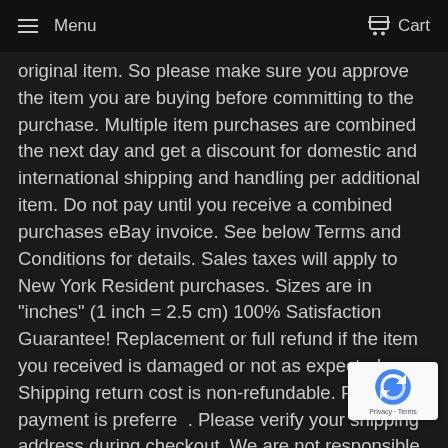Menu  Cart
original item. So please make sure you approve the item you are buying before committing to the purchase. Multiple item purchases are combined the next day and get a discount for domestic and international shipping and handling per additional item. Do not pay until you receive a combined purchases eBay invoice. See below Terms and Conditions for details. Sales taxes will apply to New York Resident purchases. Sizes are in "inches" (1 inch = 2.5 cm) 100% Satisfaction Guarantee! Replacement or full refund if the item you received is damaged or not as expected. Shipping return cost is non-refundable. Paypal payment is preferred. Please verify your shipping address during checkout. We are not responsible for